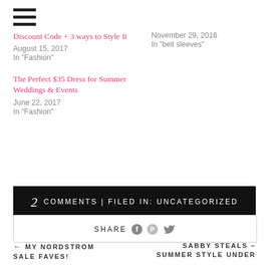[Figure (other): Hamburger menu icon (three horizontal lines)]
Discount Code + 3 ways to Style It
August 15, 2017
In "Fashion"
November 29, 2016
In "bell sleeves"
The Perfect $35 Dress for Summer Weddings & Events
June 22, 2017
In "Fashion"
2 COMMENTS | FILED IN: UNCATEGORIZED
SHARE
← MY NORDSTROM SALE FAVES!     SABBY STEALS – SUMMER STYLE UNDER